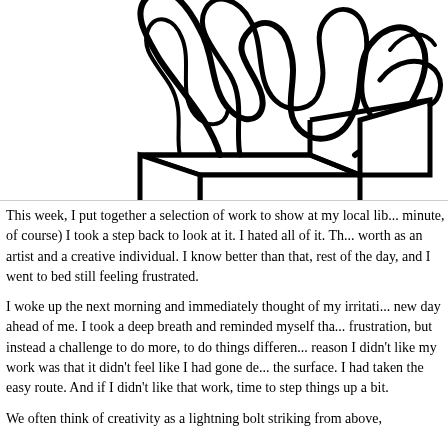[Figure (illustration): Black and white illustration of a tangled scribble of lines bursting out of an open box, cropped at top of page.]
This week, I put together a selection of work to show at my local lib... minute, of course) I took a step back to look at it. I hated all of it. Th... worth as an artist and a creative individual. I know better than that, rest of the day, and I went to bed still feeling frustrated.
I woke up the next morning and immediately thought of my irritati... new day ahead of me. I took a deep breath and reminded myself tha... frustration, but instead a challenge to do more, to do things differen... reason I didn't like my work was that it didn't feel like I had gone de... the surface. I had taken the easy route. And if I didn't like that work, time to step things up a bit.
We often think of creativity as a lightning bolt striking from above, ...